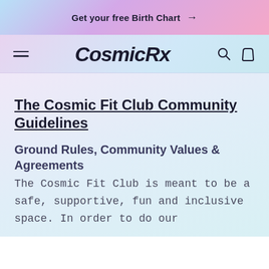Get your free Birth Chart →
CosmicRx
The Cosmic Fit Club Community Guidelines
Ground Rules, Community Values & Agreements
The Cosmic Fit Club is meant to be a safe, supportive, fun and inclusive space. In order to do our